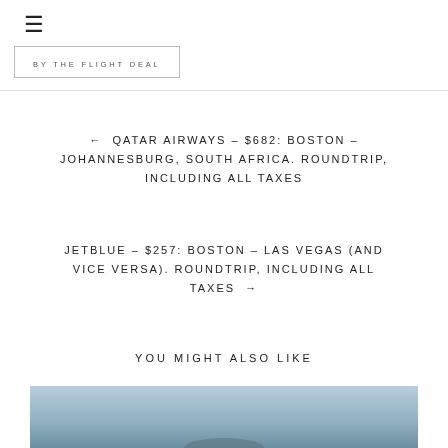≡
BY THE FLIGHT DEAL
← QATAR AIRWAYS – $682: BOSTON – JOHANNESBURG, SOUTH AFRICA. ROUNDTRIP, INCLUDING ALL TAXES
JETBLUE – $257: BOSTON – LAS VEGAS (AND VICE VERSA). ROUNDTRIP, INCLUDING ALL TAXES →
YOU MIGHT ALSO LIKE
[Figure (photo): Partial view of a blue-toned photo at bottom of page]